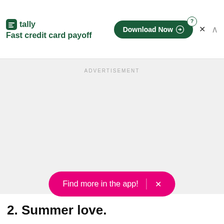[Figure (screenshot): Tally app advertisement banner with logo, tagline 'Fast credit card payoff', Download Now button, close and collapse controls]
ADVERTISEMENT
[Figure (other): Empty grey advertisement placeholder area]
Find more in the app!
2. Summer love.